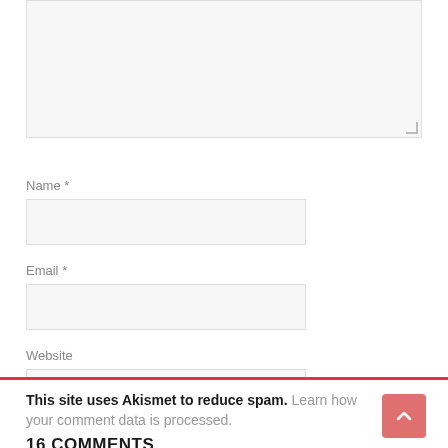[Figure (screenshot): Text area (textarea) input box, partially visible at top, with resize handle at bottom-right, light gray background.]
Name *
[Figure (screenshot): Name input field, empty, light gray background with border.]
Email *
[Figure (screenshot): Email input field, empty, light gray background with border.]
Website
[Figure (screenshot): Website input field, empty, light gray background with border.]
Notify me of follow-up comments by email.
[Figure (screenshot): Red 'Post Comment' button.]
This site uses Akismet to reduce spam. Learn how your comment data is processed.
16 COMMENTS